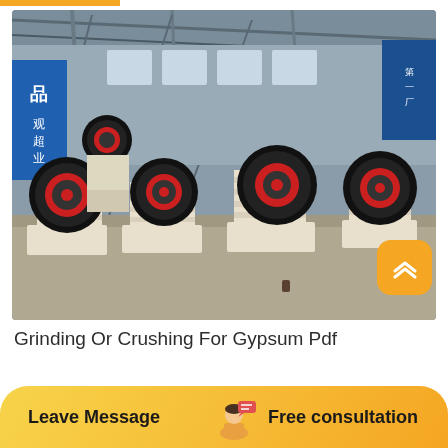[Figure (photo): Industrial factory floor showing multiple jaw crusher machines arranged in rows. Machines are cream/beige colored with large black and red flywheels. Factory has metal truss roof structure, blue banners with Chinese text on walls, and concrete floor. Several units visible in foreground and background.]
Grinding Or Crushing For Gypsum Pdf
Leave Message   Free consultation